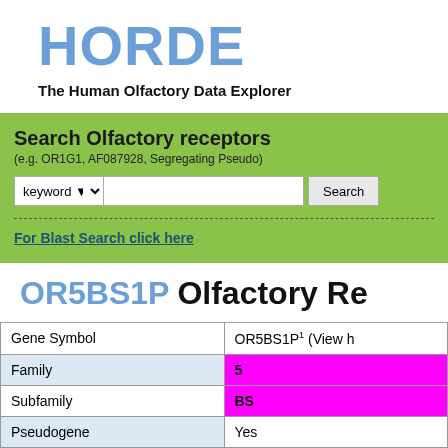HORDE
The Human Olfactory Data Explorer
Search Olfactory receptors
(e.g. OR1G1, AF087928, Segregating Pseudo)
For Blast Search click here
OR5BS1P Olfactory Re
|  |  |
| --- | --- |
| Gene Symbol | OR5BS1P¹ (View h... |
| Family | 5 |
| Subfamily | BS |
| Pseudogene | Yes |